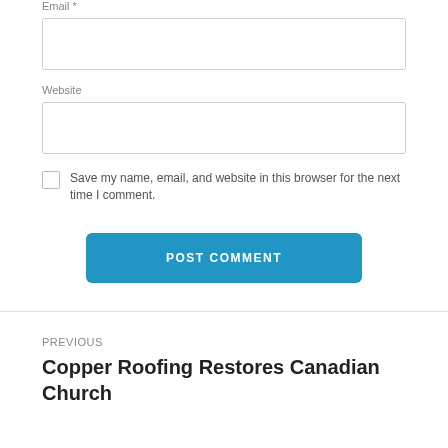Email *
Website
Save my name, email, and website in this browser for the next time I comment.
POST COMMENT
PREVIOUS
Copper Roofing Restores Canadian Church